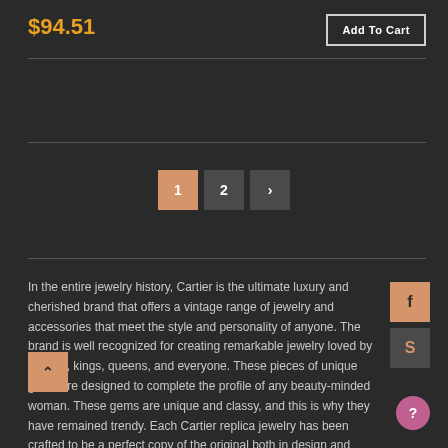$94.51
Add To Cart
1  2  >
In the entire jewelry history, Cartier is the ultimate luxury and cherished brand that offers a vintage range of jewelry and accessories that meet the style and personality of anyone. The brand is well recognized for creating remarkable jewelry loved by starlets, kings, queens, and everyone. These pieces of unique gems are designed to complete the profile of any beauty-minded woman. These gems are unique and classy, and this is why they have remained trendy. Each Cartier replica jewelry has been crafted to be a perfect copy of the original both in design and quality. Therefore, customers can possess a replica piece of jewelry